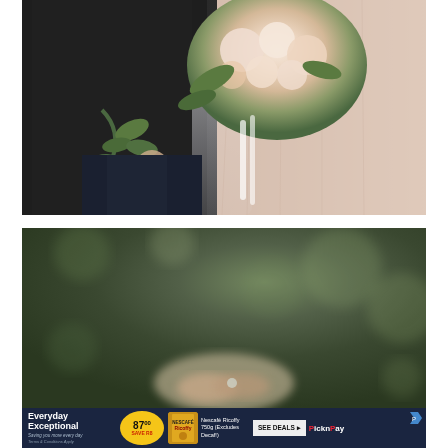[Figure (photo): Wedding photo showing a couple from the waist down. Groom in dark suit on left holding greenery, bride in blush/pink dress on right holding a bouquet of peach and white flowers with ribbons. A white veil is visible.]
[Figure (photo): Second wedding photo, blurred/bokeh background of green foliage. The couple's hands are visible at the bottom of the frame, appearing to hold hands or exchange rings.]
[Figure (infographic): Advertisement banner for Pick n Pay. Dark navy background with text 'Everyday Exceptional', yellow circular badge showing '87.00 SAVE R8', image of Nescafé Ricoffy product, text 'Nescafé Ricoffy 750g (Excludes Decaf!)', grey 'SEE DEALS' button with arrow, and Pick n Pay logo in red and white.]